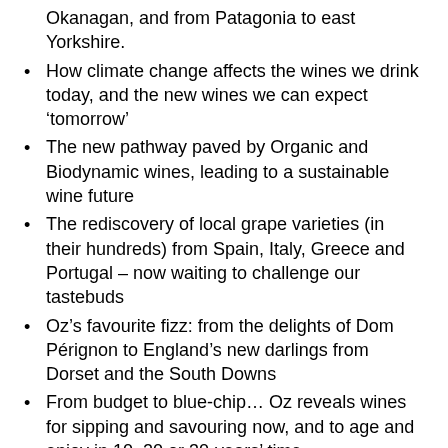Okanagan, and from Patagonia to east Yorkshire.
How climate change affects the wines we drink today, and the new wines we can expect ‘tomorrow’
The new pathway paved by Organic and Biodynamic wines, leading to a sustainable wine future
The rediscovery of local grape varieties (in their hundreds) from Spain, Italy, Greece and Portugal – now waiting to challenge our tastebuds
Oz’s favourite fizz: from the delights of Dom Pérignon to England’s new darlings from Dorset and the South Downs
From budget to blue-chip… Oz reveals wines for sipping and savouring now, and to age and enjoy in 10, 20 or 30-years’ time
A significantly edited and updated version of Red and White, 2018